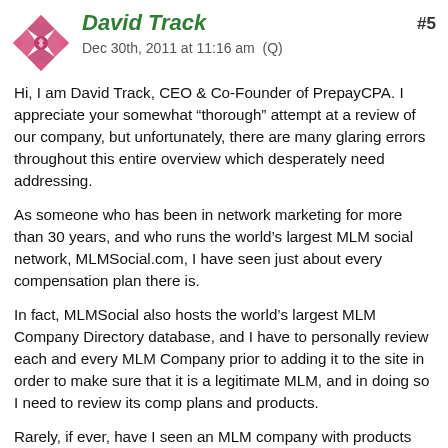David Track — Dec 30th, 2011 at 11:16 am  (Q)  #5
Hi, I am David Track, CEO & Co-Founder of PrepayCPA. I appreciate your somewhat “thorough” attempt at a review of our company, but unfortunately, there are many glaring errors throughout this entire overview which desperately need addressing.
As someone who has been in network marketing for more than 30 years, and who runs the world’s largest MLM social network, MLMSocial.com, I have seen just about every compensation plan there is.
In fact, MLMSocial also hosts the world’s largest MLM Company Directory database, and I have to personally review each and every MLM Company prior to adding it to the site in order to make sure that it is a legitimate MLM, and in doing so I need to review its comp plans and products.
Rarely, if ever, have I seen an MLM company with products and/or services that everyone needs… and everyone must pay taxes! There are a ton of lotions and potions in our industry out there competing with one another, but we are first in our space